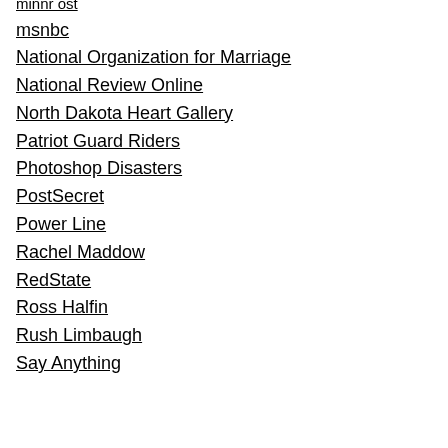minnr ost
msnbc
National Organization for Marriage
National Review Online
North Dakota Heart Gallery
Patriot Guard Riders
Photoshop Disasters
PostSecret
Power Line
Rachel Maddow
RedState
Ross Halfin
Rush Limbaugh
Say Anything